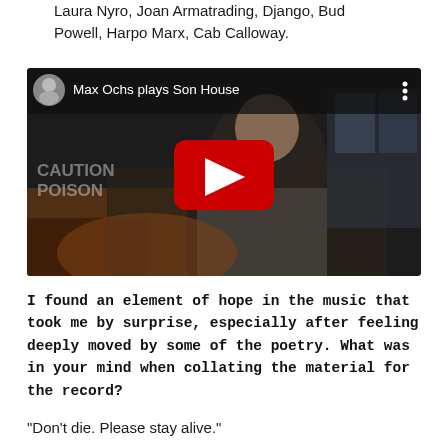Laura Nyro, Joan Armatrading, Django, Bud Powell, Harpo Marx, Cab Calloway.
[Figure (screenshot): YouTube video thumbnail showing an elderly man playing acoustic guitar in a dark room, with YouTube overlay bar showing title 'Max Ochs plays Son House' and a circular avatar, plus a red play button in the center. Text 'CAUTION POISON' visible in background.]
I found an element of hope in the music that took me by surprise, especially after feeling deeply moved by some of the poetry. What was in your mind when collating the material for the record?
"Don't die. Please stay alive."